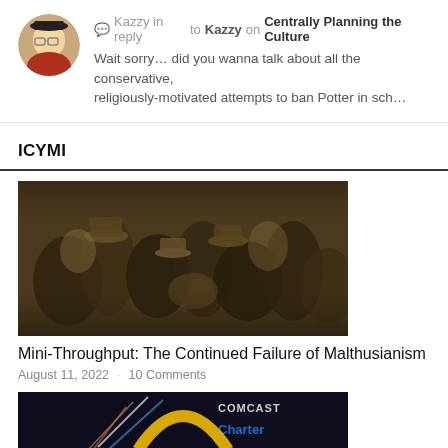Kazzy in reply to Kazzy on Centrally Planning the Culture — Wait sorry… did you wanna talk about all the conservative, religiously-motivated attempts to ban Potter in sch…
ICYMI
[Figure (photo): Sepia-toned photograph of a large crowd of people wearing hats, viewed from above.]
Mini-Throughput: The Continued Failure of Malthusianism
August 11, 2022 · 10 Comments
[Figure (screenshot): Partial screenshot showing Comcast and Charter logos on a dark background.]